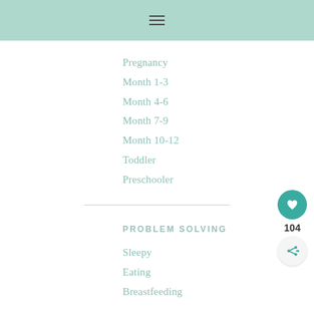[Figure (other): Teal/mint colored header bar with a hamburger menu icon (three horizontal lines) centered in it]
Pregnancy
Month 1-3
Month 4-6
Month 7-9
Month 10-12
Toddler
Preschooler
PROBLEM SOLVING
Sleepy
Eating
Breastfeeding